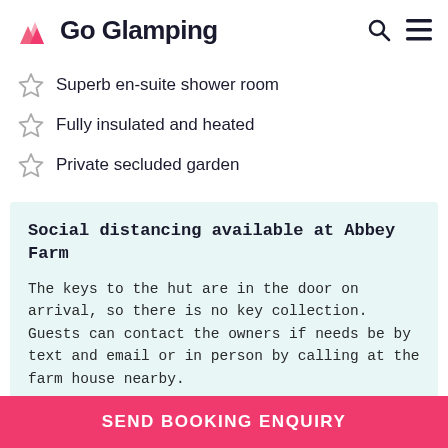Go Glamping
Superb en-suite shower room
Fully insulated and heated
Private secluded garden
Social distancing available at Abbey Farm
The keys to the hut are in the door on arrival, so there is no key collection. Guests can contact the owners if needs be by text and email or in person by calling at the farm house nearby.
SEND BOOKING ENQUIRY